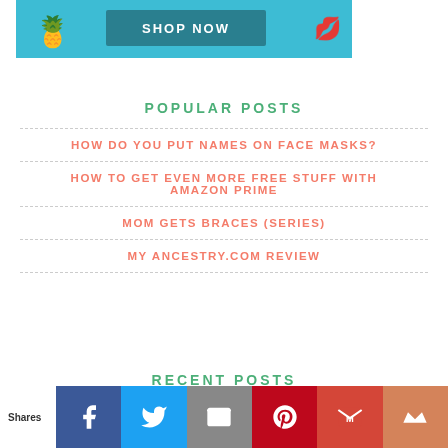[Figure (illustration): Candy shop promotional banner with cyan background, a 'SHOP NOW' button, pineapple and lip-shaped candy decorations]
POPULAR POSTS
HOW DO YOU PUT NAMES ON FACE MASKS?
HOW TO GET EVEN MORE FREE STUFF WITH AMAZON PRIME
MOM GETS BRACES (SERIES)
MY ANCESTRY.COM REVIEW
RECENT POSTS
Shares | Facebook | Twitter | Email | Pinterest | Gmail | Crown